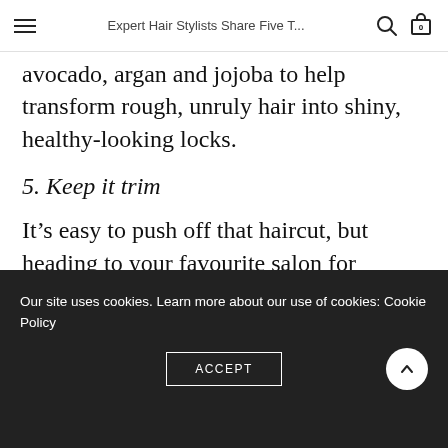Expert Hair Stylists Share Five T...
avocado, argan and jojoba to help transform rough, unruly hair into shiny, healthy-looking locks.
5. Keep it trim
It’s easy to push off that haircut, but heading to your favourite salon for regular trims will remove damaged hair, combat split ends, and help your locks radiate shine throughout the colder months of the year. Freshly cut ends also help detangle hair, making it
Our site uses cookies. Learn more about our use of cookies: Cookie Policy